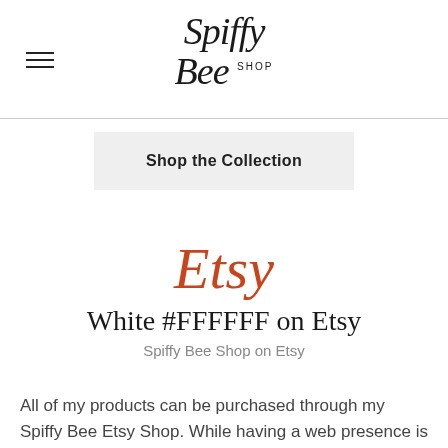Spiffy Bee Shop
[Figure (logo): Spiffy Bee Shop logo in cursive/script font with SHOP in small caps]
Shop the Collection
Etsy
White #FFFFFF on Etsy
Spiffy Bee Shop on Etsy
All of my products can be purchased through my Spiffy Bee Etsy Shop. While having a web presence is